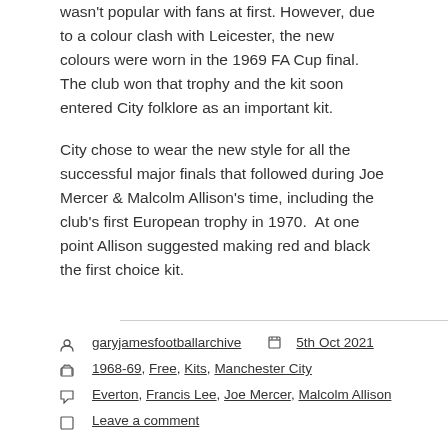wasn't popular with fans at first. However, due to a colour clash with Leicester, the new colours were worn in the 1969 FA Cup final. The club won that trophy and the kit soon entered City folklore as an important kit.
City chose to wear the new style for all the successful major finals that followed during Joe Mercer & Malcolm Allison's time, including the club's first European trophy in 1970.  At one point Allison suggested making red and black the first choice kit.
garyjamesfootballarchive  5th Oct 2021
1968-69, Free, Kits, Manchester City
Everton, Francis Lee, Joe Mercer, Malcolm Allison
Leave a comment